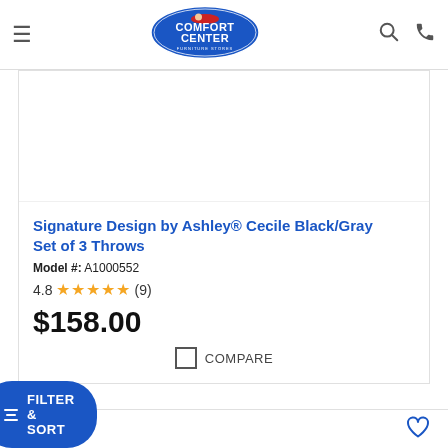Comfort Center Furniture Stores
[Figure (logo): Comfort Center Furniture Stores oval blue logo with cartoon character]
[Figure (photo): Product image area (white/empty)]
Signature Design by Ashley® Cecile Black/Gray Set of 3 Throws
Model #: A1000552
4.8  ★★★★★  (9)
$158.00
COMPARE
FILTER & SORT